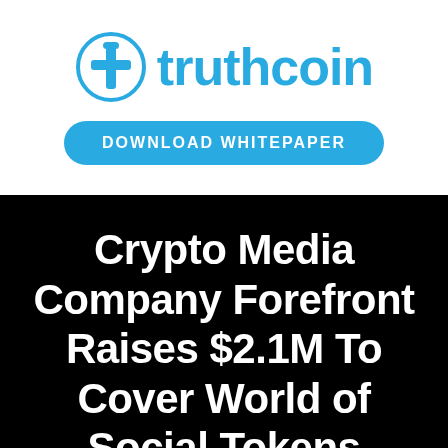[Figure (logo): Truthcoin logo with cyan circular icon containing a cross/plus symbol and the wordmark 'truthcoin' in cyan]
[Figure (other): Cyan pill-shaped button with white bold uppercase text 'DOWNLOAD WHITEPAPER']
Crypto Media Company Forefront Raises $2.1M To Cover World of Social Tokens